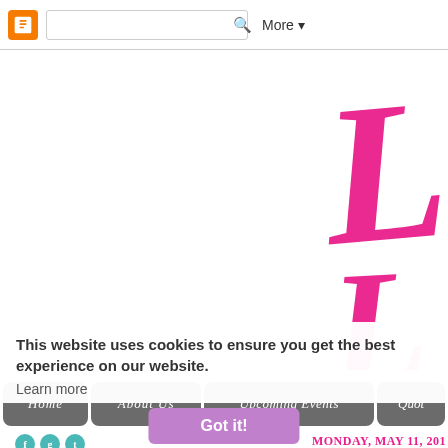[Blogger toolbar with search and More menu]
[Figure (screenshot): Pink handwritten/script-style blog logo text partially visible on right side]
This website uses cookies to ensure you get the best experience on our website.
Learn more
Home
About Us
Upcoming Events
Quot
Got it!
MONDAY, MAY 11, 201